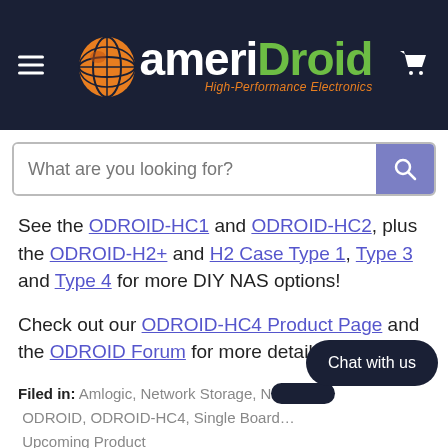[Figure (logo): AmeriDroid logo with orange globe and green/white text on dark navy header background, with hamburger menu icon on left and shopping cart icon on right]
What are you looking for?
See the ODROID-HC1 and ODROID-HC2, plus the ODROID-H2+ and H2 Case Type 1, Type 3 and Type 4 for more DIY NAS options!
Check out our ODROID-HC4 Product Page and the ODROID Forum for more details!
Filed in: Amlogic, Network Storage, N... ODROID, ODROID-HC4, Single Board... Upcoming Product
Share: